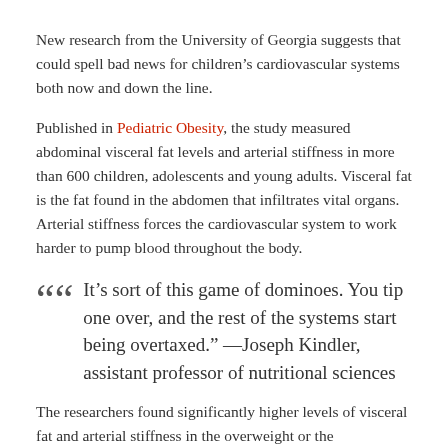New research from the University of Georgia suggests that could spell bad news for children's cardiovascular systems both now and down the line.
Published in Pediatric Obesity, the study measured abdominal visceral fat levels and arterial stiffness in more than 600 children, adolescents and young adults. Visceral fat is the fat found in the abdomen that infiltrates vital organs. Arterial stiffness forces the cardiovascular system to work harder to pump blood throughout the body.
“It’s sort of this game of dominoes. You tip one over, and the rest of the systems start being overtaxed.” —Joseph Kindler, assistant professor of nutritional sciences
The researchers found significantly higher levels of visceral fat and arterial stiffness in the overweight or the...